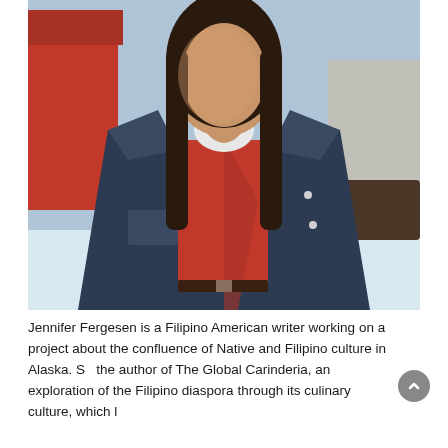[Figure (photo): Portrait photo of Jennifer Fergesen, a young woman with long dark hair, wearing a denim jacket over a red top and white turtleneck, standing outdoors in a snowy setting with a red building in the background.]
Jennifer Fergesen is a Filipino American writer working on a project about the confluence of Native and Filipino culture in Alaska. She is the author of The Global Carinderia, an exploration of the Filipino diaspora through its culinary culture, which...